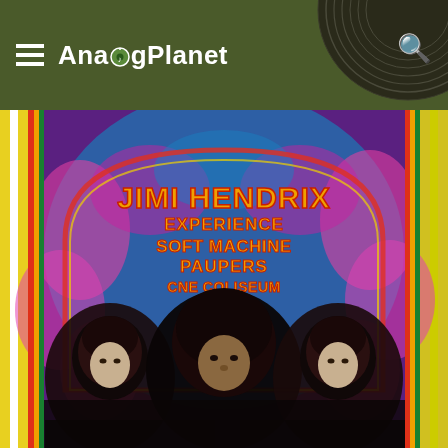AnalogPlanet
[Figure (photo): Psychedelic concert poster for Jimi Hendrix Experience, Soft Machine, Paupers at CNE Coliseum Arena, Sat Feb 24. Features the three members of the Jimi Hendrix Experience in black and white photo below colorful psychedelic text on a purple background with blue and pink swirling patterns. Image shown lying on a surface with yellow and white borders visible.]